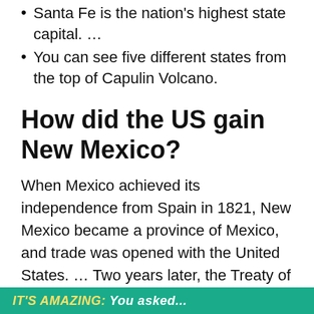Santa Fe is the nation's highest state capital. …
You can see five different states from the top of Capulin Volcano.
How did the US gain New Mexico?
When Mexico achieved its independence from Spain in 1821, New Mexico became a province of Mexico, and trade was opened with the United States. … Two years later, the Treaty of Guadalupe Hidalgo ceded New Mexico to the United States, and in 1853 the territory was expanded to its present size through the Gadsden Purchase.
IT'S AMAZING: You asked...